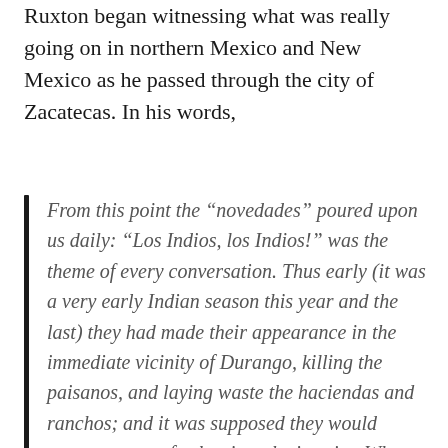Ruxton began witnessing what was really going on in northern Mexico and New Mexico as he passed through the city of Zacatecas. In his words,
From this point the “novedades” poured upon us daily: “Los Indios, los Indios!” was the theme of every conversation. Thus early (it was a very early Indian season this year and the last) they had made their appearance in the immediate vicinity of Durango, killing the paisanos, and laying waste the haciendas and ranchos; and it was supposed they would penetrate even farther into the interior. What a “cosa de Mejico” is this fact! Five hundred